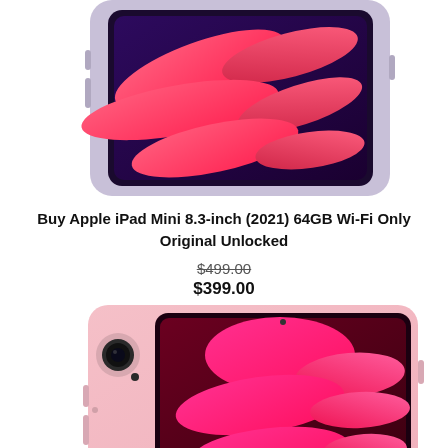[Figure (photo): Apple iPad Mini 8.3-inch (2021) in purple/lavender color, showing the front and back, with abstract colorful swirl wallpaper on screen]
Buy Apple iPad Mini 8.3-inch (2021) 64GB Wi-Fi Only Original Unlocked
$499.00 (strikethrough original price)
$399.00 (sale price)
[Figure (photo): Apple iPad Mini 8.3-inch (2021) in pink color, showing the front at an angle with camera visible and abstract colorful swirl wallpaper on screen]